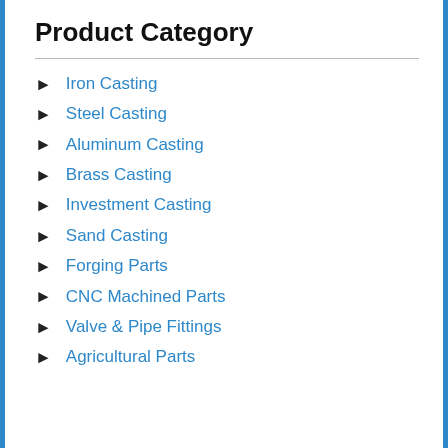Product Category
Iron Casting
Steel Casting
Aluminum Casting
Brass Casting
Investment Casting
Sand Casting
Forging Parts
CNC Machined Parts
Valve & Pipe Fittings
Agricultural Parts